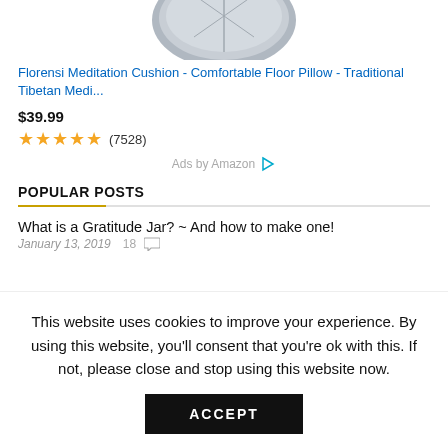[Figure (photo): Gray meditation cushion product image (partially cropped at top)]
Florensi Meditation Cushion - Comfortable Floor Pillow - Traditional Tibetan Medi...
$39.99
★★★★★ (7528)
Ads by Amazon ▷
POPULAR POSTS
What is a Gratitude Jar? ~ And how to make one!
January 13, 2019  18 💬
This website uses cookies to improve your experience. By using this website, you'll consent that you're ok with this. If not, please close and stop using this website now.
ACCEPT